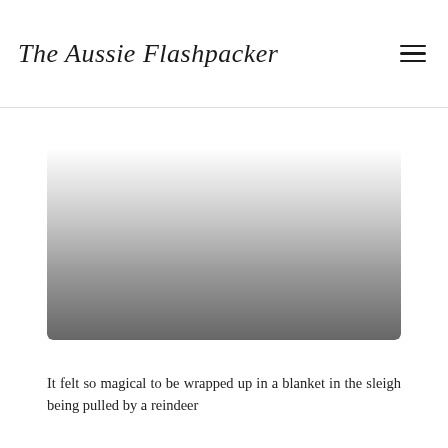The Aussie Flashpacker
[Figure (photo): A partially visible photograph showing a gradient from white/light grey at top to dark grey at bottom, likely a winter or outdoor scene related to reindeer sleigh ride content.]
It felt so magical to be wrapped up in a blanket in the sleigh being pulled by a reindeer